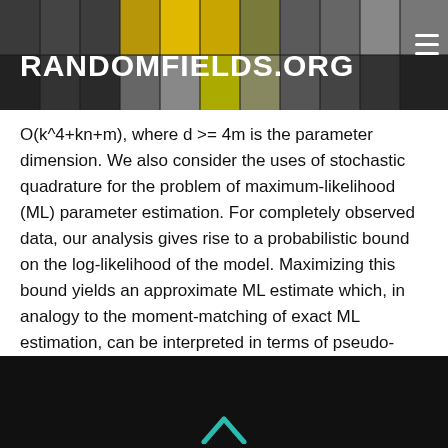RANDOMFIELDS.ORG
O(k^4+kn+m), where d >= 4m is the parameter dimension. We also consider the uses of stochastic quadrature for the problem of maximum-likelihood (ML) parameter estimation. For completely observed data, our analysis gives rise to a probabilistic bound on the log-likelihood of the model. Maximizing this bound yields an approximate ML estimate which, in analogy to the moment-matching of exact ML estimation, can be interpreted in terms of pseudo-moment-matching. We present experimental results illustrating the behavior of this approximate ML estimator.